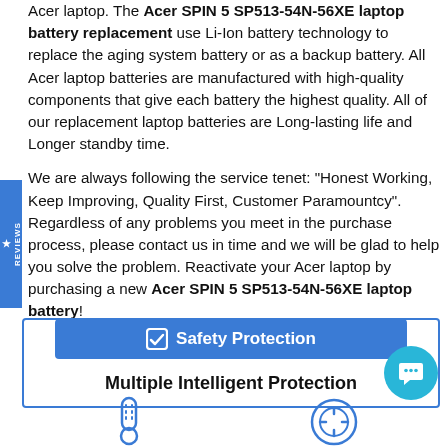Acer laptop. The Acer SPIN 5 SP513-54N-56XE laptop battery replacement use Li-Ion battery technology to replace the aging system battery or as a backup battery. All Acer laptop batteries are manufactured with high-quality components that give each battery the highest quality. All of our replacement laptop batteries are Long-lasting life and Longer standby time.

We are always following the service tenet: "Honest Working, Keep Improving, Quality First, Customer Paramountcy". Regardless of any problems you meet in the purchase process, please contact us in time and we will be glad to help you solve the problem. Reactivate your Acer laptop by purchasing a new Acer SPIN 5 SP513-54N-56XE laptop battery!
[Figure (infographic): Safety Protection button/banner in blue with checkmark icon, containing 'Multiple Intelligent Protection' text inside a bordered box]